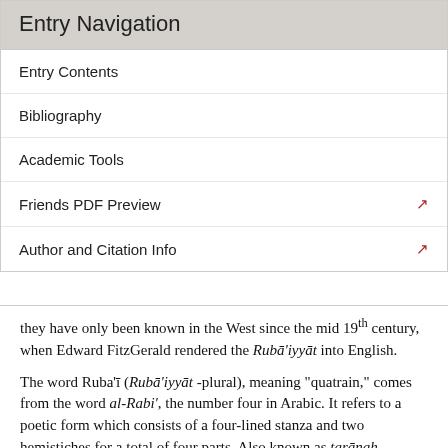Entry Navigation
Entry Contents
Bibliography
Academic Tools
Friends PDF Preview
Author and Citation Info
they have only been known in the West since the mid 19th century, when Edward FitzGerald rendered the Rubā'iyyāt into English.
The word Ruba'ī (Rubā'iyyāt -plural), meaning "quatrain," comes from the word al-Rabi', the number four in Arabic. It refers to a poetic form which consists of a four-lined stanza and two hemistiches for a total of four parts. Also known as tarānah (snatch) or dobaītī (two-liner), its short and simple form provides a type of "poetic punch line."